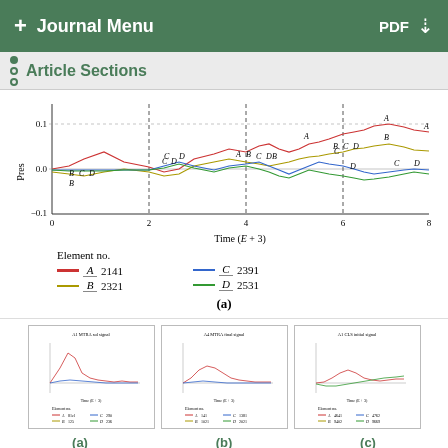+ Journal Menu   PDF ↓
Article Sections
[Figure (continuous-plot): Line chart showing Pres (y-axis, range -0.1 to 0.1) vs Time (E+3) (x-axis, 0 to 8). Four curves labeled A, B, C, D are shown with vertical dashed lines at x=2, 4, 6. The legend shows Element no. A=2141, B=2321, C=2391, D=2531.]
(a)
[Figure (continuous-plot): Thumbnail chart (a): small line chart similar to main figure]
[Figure (continuous-plot): Thumbnail chart (b): small line chart]
[Figure (continuous-plot): Thumbnail chart (c): small line chart]
(a)
(b)
(c)